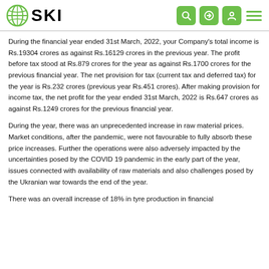SKI logo and navigation header
During the financial year ended 31st March, 2022, your Company's total income is Rs.19304 crores as against Rs.16129 crores in the previous year. The profit before tax stood at Rs.879 crores for the year as against Rs.1700 crores for the previous financial year. The net provision for tax (current tax and deferred tax) for the year is Rs.232 crores (previous year Rs.451 crores). After making provision for income tax, the net profit for the year ended 31st March, 2022 is Rs.647 crores as against Rs.1249 crores for the previous financial year.
During the year, there was an unprecedented increase in raw material prices. Market conditions, after the pandemic, were not favourable to fully absorb these price increases. Further the operations were also adversely impacted by the uncertainties posed by the COVID 19 pandemic in the early part of the year, issues connected with availability of raw materials and also challenges posed by the Ukranian war towards the end of the year.
There was an overall increase of 18% in tyre production in financial